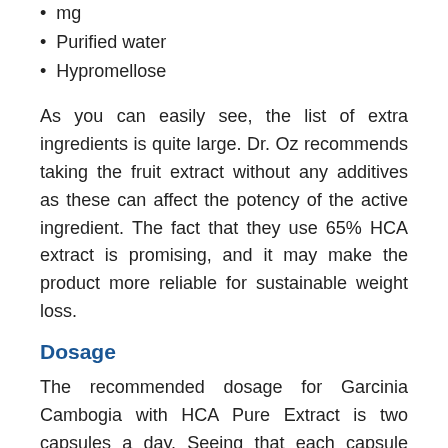mg
Purified water
Hypromellose
As you can easily see, the list of extra ingredients is quite large. Dr. Oz recommends taking the fruit extract without any additives as these can affect the potency of the active ingredient. The fact that they use 65% HCA extract is promising, and it may make the product more reliable for sustainable weight loss.
Dosage
The recommended dosage for Garcinia Cambogia with HCA Pure Extract is two capsules a day. Seeing that each capsule contains 1000 mg of 65% HCA Garcinia Cambogia, you will get more than enough essential fruit extract to help you lose weight.
Keep in mind that the manufacturer does recommend to